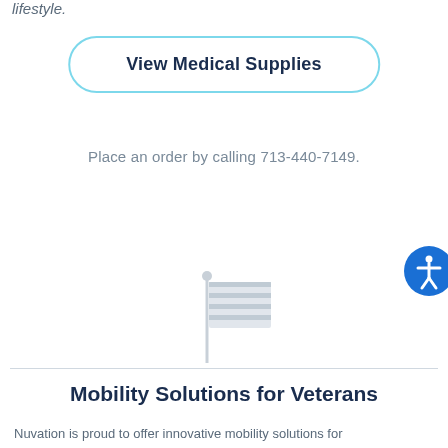lifestyle.
[Figure (other): Button with light blue rounded border reading 'View Medical Supplies']
Place an order by calling 713-440-7149.
[Figure (illustration): Light gray American flag icon]
Mobility Solutions for Veterans
Nuvation is proud to offer innovative mobility solutions for